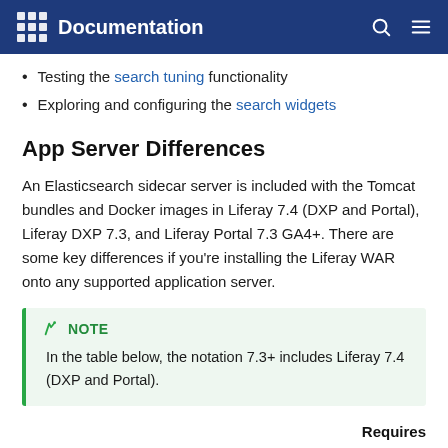Documentation
Testing the search tuning functionality
Exploring and configuring the search widgets
App Server Differences
An Elasticsearch sidecar server is included with the Tomcat bundles and Docker images in Liferay 7.4 (DXP and Portal), Liferay DXP 7.3, and Liferay Portal 7.3 GA4+. There are some key differences if you're installing the Liferay WAR onto any supported application server.
NOTE
In the table below, the notation 7.3+ includes Liferay 7.4 (DXP and Portal).
Requires